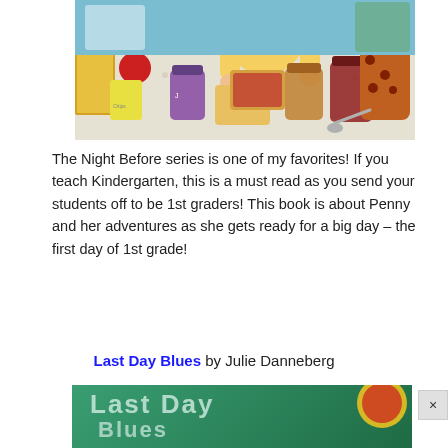[Figure (illustration): Illustration of a child in a yellow 'Friends' t-shirt making sandwiches at a table covered with bread, jars of jam/peanut butter, apples, cereal boxes, chip bags, and a spotted backpack.]
The Night Before series is one of my favorites! If you teach Kindergarten, this is a must read as you send your students off to be 1st graders! This book is about Penny and her adventures as she gets ready for a big day – the first day of 1st grade!
Last Day Blues by Julie Danneberg
[Figure (illustration): Book cover of 'Last Day Blues' by Julie Danneberg showing the title text on a green chalkboard background.]